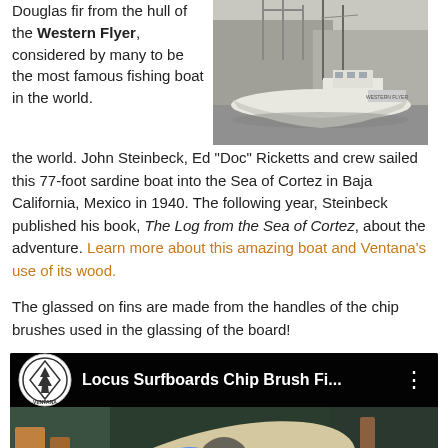Douglas fir from the hull of the Western Flyer, considered by many to be the most famous fishing boat in the world. John Steinbeck, Ed "Doc" Ricketts and crew sailed this 77-foot sardine boat into the Sea of Cortez in Baja California, Mexico in 1940. The following year, Steinbeck published his book, The Log from the Sea of Cortez, about the adventure. Learn more about this amazing boat and Ventana's use of its wood.
[Figure (photo): Black and white photograph of the Western Flyer fishing boat docked at a pier]
The glassed on fins are made from the handles of the chip brushes used in the glassing of the board!
[Figure (screenshot): Video thumbnail showing Locus Surfboards Chip Brush Fins video with Ventana logo, surfboard with colorful fins, and play button overlay]